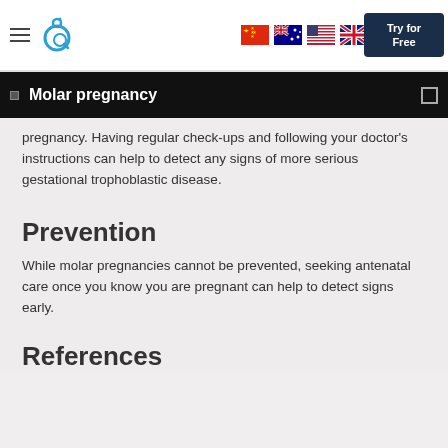Molar pregnancy
pregnancy. Having regular check-ups and following your doctor's instructions can help to detect any signs of more serious gestational trophoblastic disease.
Prevention
While molar pregnancies cannot be prevented, seeking antenatal care once you know you are pregnant can help to detect signs early.
References